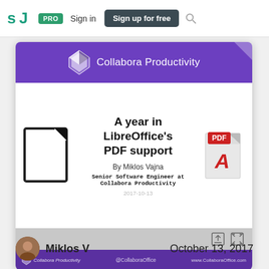SJ PRO Sign in Sign up for free
[Figure (screenshot): Slideshare-style presentation preview card for 'A year in LibreOffice's PDF support' by Miklos Vajna, Senior Software Engineer at Collabora Productivity, 2017-10-13. Purple header with Collabora Productivity logo, white slide area with LibreOffice logo and PDF icon, gray controls bar, purple footer with @CollaboraOffice and www.CollaboraOffice.com]
Miklos V    October 13, 2017